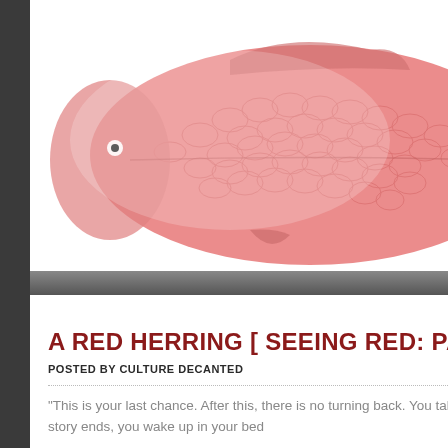[Figure (photo): A red herring fish illustration on white background with a dark gradient bar at the bottom and the number 24 overlaid in white]
A RED HERRING [ SEEING RED: PART 4 ]
POSTED BY CULTURE DECANTED
“This is your last chance. After this, there is no turning back. You take the blue pill – the story ends, you wake up in your bed
[Figure (other): Partial second blog card with MAY badge and number 23 in red, with a red vertical line, beginning of new post thumbnail]